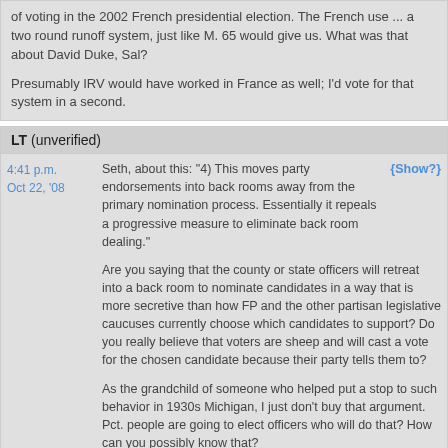of voting in the 2002 French presidential election. The French use ... a two round runoff system, just like M. 65 would give us. What was that about David Duke, Sal?

Presumably IRV would have worked in France as well; I'd vote for that system in a second.
LT (unverified)
Seth, about this: "4) This moves party endorsements into back rooms away from the primary nomination process. Essentially it repeals a progressive measure to eliminate back room dealing."

Are you saying that the county or state officers will retreat into a back room to nominate candidates in a way that is more secretive than how FP and the other partisan legislative caucuses currently choose which candidates to support? Do you really believe that voters are sheep and will cast a vote for the chosen candidate because their party tells them to?

As the grandchild of someone who helped put a stop to such behavior in 1930s Michigan, I just don't buy that argument. Pct. people are going to elect officers who will do that? How can you possibly know that?

What is you evidence, or is this just an assumption?

And anyone who thinks Phil and Norma were elected under "the current system", do you really believe that Future Pac and the rest of the caucus campaign arms existed in their current form when Phil Keisling ran for legislature after working for Speaker Katz in the mid-late 1980s or even back in 1970 when Norma first ran?

Look up the report on Future Pac on the Sec. of State website (the pre-Orestar part) and you will see that FP as a fundraising entity was